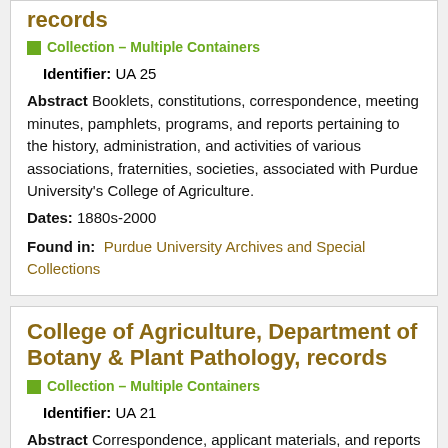records
Collection – Multiple Containers
Identifier: UA 25
Abstract Booklets, constitutions, correspondence, meeting minutes, pamphlets, programs, and reports pertaining to the history, administration, and activities of various associations, fraternities, societies, associated with Purdue University's College of Agriculture.
Dates: 1880s-2000
Found in: Purdue University Archives and Special Collections
College of Agriculture, Department of Botany & Plant Pathology, records
Collection – Multiple Containers
Identifier: UA 21
Abstract Correspondence, applicant materials, and reports documenting the history and administration of